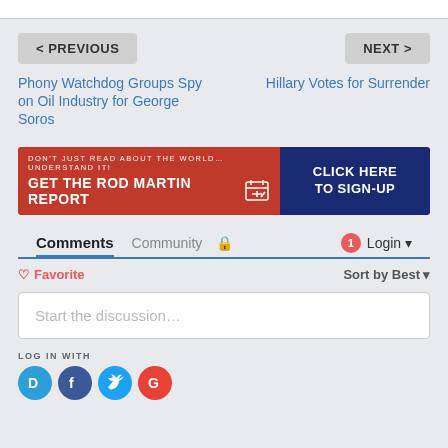< PREVIOUS
NEXT >
Phony Watchdog Groups Spy on Oil Industry for George Soros
Hillary Votes for Surrender
[Figure (infographic): Red and blue banner ad reading: DON'T JUST READ ABOUT THE WORLD... UNDERSTAND IT! GET THE ROD MARTIN REPORT [icon] | CLICK HERE TO SIGN-UP]
Comments  Community  🔒  1  Login ▾
♡ Favorite  Sort by Best▾
Start the discussion…
LOG IN WITH
[Figure (infographic): Social login icons: Disqus (D), Facebook (F), Twitter bird, Google (G)]